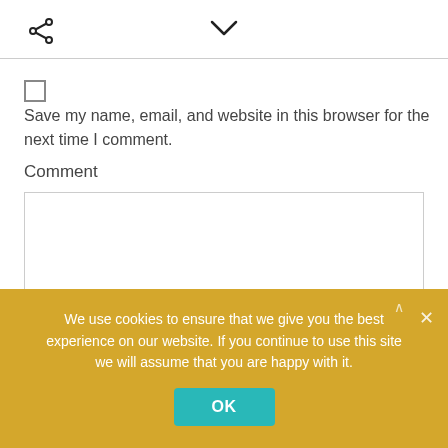[Figure (screenshot): Share icon (less-than-like symbol with dots) in top left area]
[Figure (screenshot): Chevron/dropdown arrow icon in top center area]
[Figure (screenshot): Unchecked checkbox]
Save my name, email, and website in this browser for the next time I comment.
Comment
We use cookies to ensure that we give you the best experience on our website. If you continue to use this site we will assume that you are happy with it.
OK